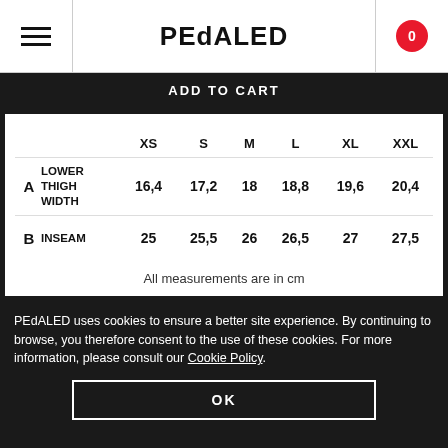PEdALED
ADD TO CART
|  |  | XS | S | M | L | XL | XXL |
| --- | --- | --- | --- | --- | --- | --- | --- |
| A | LOWER THIGH WIDTH | 16,4 | 17,2 | 18 | 18,8 | 19,6 | 20,4 |
| B | INSEAM | 25 | 25,5 | 26 | 26,5 | 27 | 27,5 |
All measurements are in cm
PEdALED uses cookies to ensure a better site experience. By continuing to browse, you therefore consent to the use of these cookies. For more information, please consult our Cookie Policy.
OK